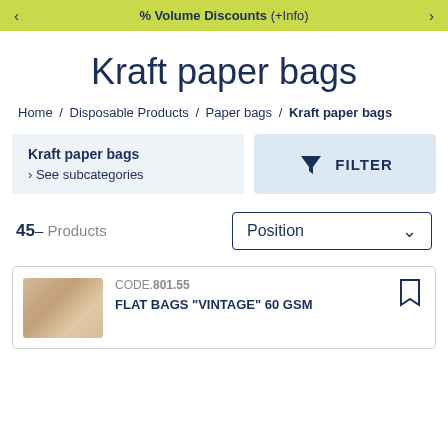% Volume Discounts (+Info)
Kraft paper bags
Home / Disposable Products / Paper bags / Kraft paper bags
Kraft paper bags
› See subcategories
FILTER
45– Products
Position
CODE. 801.55
FLAT BAGS "VINTAGE" 60 GSM